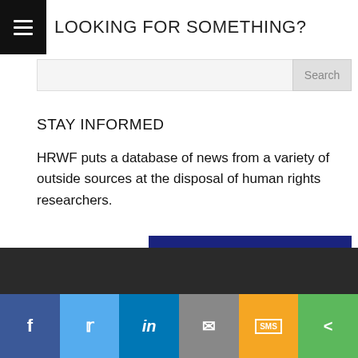LOOKING FOR SOMETHING?
[Figure (screenshot): Search bar with a text input field and a Search button]
STAY INFORMED
HRWF puts a database of news from a variety of outside sources at the disposal of human rights researchers.
[Figure (screenshot): Subscribe button with double chevron arrow in dark blue]
[Figure (screenshot): Social sharing bar with Facebook, Twitter, LinkedIn, Email, SMS, and Share buttons]